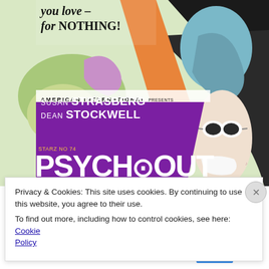[Figure (illustration): Movie poster for 'Psych-Out' (1968), an American International Pictures film. Shows psychedelic illustration of hippie figures with long flowing hair, flowers, colorful artwork at the top. A woman with dark hair and white sunglasses appears at the right. Text reads: 'you love – for NOTHING!', 'AMERICAN INTERNATIONAL presents', 'Susan STRASBERG / DEAN STOCKWELL', 'PSYCH-OUT' in large letters on a purple banner.]
Privacy & Cookies: This site uses cookies. By continuing to use this website, you agree to their use.
To find out more, including how to control cookies, see here: Cookie Policy
Close and accept